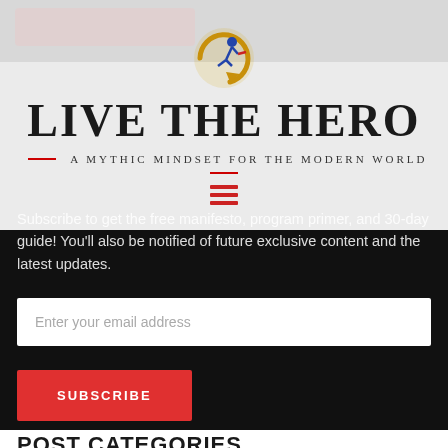[Figure (logo): Live The Hero circular logo with running figure]
LIVE THE HERO
A MYTHIC MINDSET FOR THE MODERN WORLD
Subscribe to get the free manifesto, program primer, and 30-day guide! You'll also be notified of future exclusive content and the latest updates.
Enter your email address
SUBSCRIBE
POST CATEGORIES